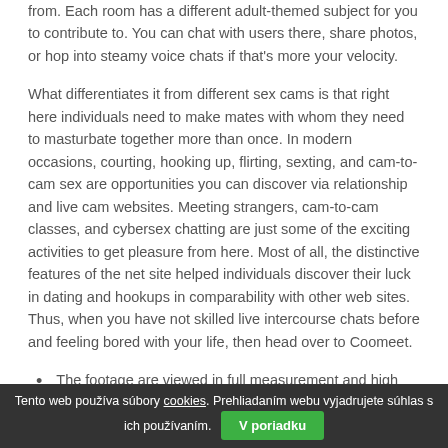from. Each room has a different adult-themed subject for you to contribute to. You can chat with users there, share photos, or hop into steamy voice chats if that's more your velocity.
What differentiates it from different sex cams is that right here individuals need to make mates with whom they need to masturbate together more than once. In modern occasions, courting, hooking up, flirting, sexting, and cam-to-cam sex are opportunities you can discover via relationship and live cam websites. Meeting strangers, cam-to-cam classes, and cybersex chatting are just some of the exciting activities to get pleasure from here. Most of all, the distinctive features of the net site helped individuals discover their luck in dating and hookups in comparability with other web sites. Thus, when you have not skilled live intercourse chats before and feeling bored with your life, then head over to Coomeet.
The footage are viewed in full measurement and high
Tento web používa súbory cookies. Prehliadaním webu vyjadrujete súhlas s ich používaním. V poriadku